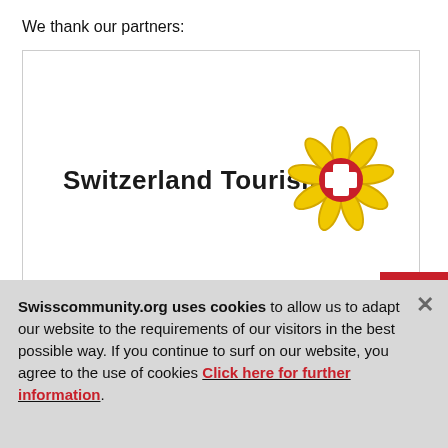We thank our partners:
[Figure (logo): Switzerland Tourism logo with bold black text 'Switzerland Tourism.' and a golden edelweiss flower with red Swiss cross in the center]
Swisscommunity.org uses cookies to allow us to adapt our website to the requirements of our visitors in the best possible way. If you continue to surf on our website, you agree to the use of cookies Click here for further information.